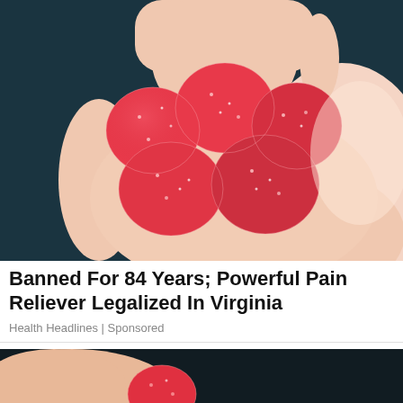[Figure (photo): A hand holding several red sugary gummy candies against a dark teal/dark background. The gummies are round and coated with sugar crystals.]
Banned For 84 Years; Powerful Pain Reliever Legalized In Virginia
Health Headlines | Sponsored
[Figure (photo): Partial view of a person's skin/body holding a red gummy candy against a dark background, at the bottom of the page.]